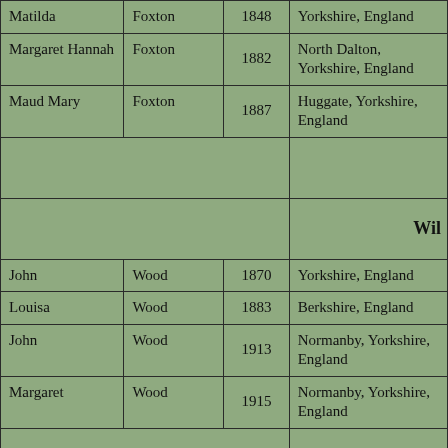| First Name | Last Name | Year | Place |
| --- | --- | --- | --- |
| Matilda | Foxton | 1848 | Yorkshire, England |
| Margaret Hannah | Foxton | 1882 | North Dalton, Yorkshire, England |
| Maud Mary | Foxton | 1887 | Huggate, Yorkshire, England |
|  |  |  | Wil[liam...] |
| John | Wood | 1870 | Yorkshire, England |
| Louisa | Wood | 1883 | Berkshire, England |
| John | Wood | 1913 | Normanby, Yorkshire, England |
| Margaret | Wood | 1915 | Normanby, Yorkshire, England |
|  |  |  | Yew T[ree...] |
| Mary Ann | Stowell | 1864 | Belton, Leicestershire, |
|  |  |  | Manchester, |